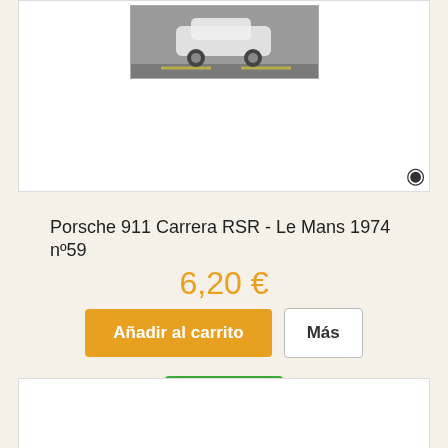[Figure (photo): Partial view of a Porsche 911 Carrera RSR car on track, grayscale photo strip at top of product card]
Porsche 911 Carrera RSR - Le Mans 1974 nº59
6,20 €
Añadir al carrito
Más
En stock
+ Agregar para comparar
[Figure (photo): Partial view of another model car, grayscale photo, bottom product card, car visible from top portion]